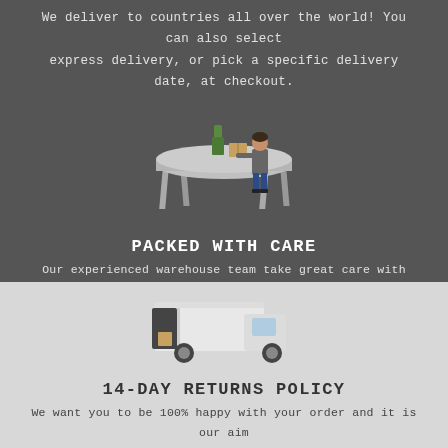We deliver to countries all over the world! You can also select express delivery, or pick a specific delivery date, at checkout.
[Figure (illustration): Isometric illustration of a warehouse worker standing at a table packing items including a bottle and a box]
PACKED WITH CARE
Our experienced warehouse team take great care with every order. As specialists in glass packaging they ensure that your items stay safe and secure in transit.
[Figure (illustration): Isometric illustration of a white delivery van with its back door open and a package inside]
14-DAY RETURNS POLICY
We want you to be 100% happy with your order and it is our aim